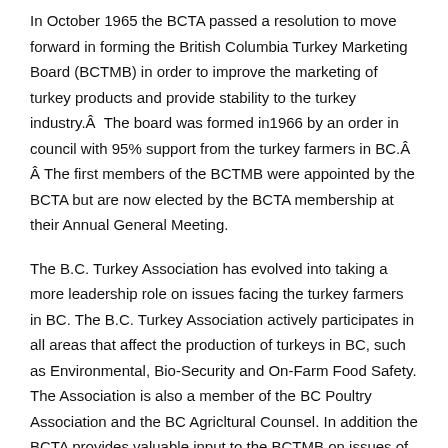In October 1965 the BCTA passed a resolution to move forward in forming the British Columbia Turkey Marketing Board (BCTMB) in order to improve the marketing of turkey products and provide stability to the turkey industry.Â  The board was formed in1966 by an order in council with 95% support from the turkey farmers in BC.Â  Â The first members of the BCTMB were appointed by the BCTA but are now elected by the BCTA membership at their Annual General Meeting.
The B.C. Turkey Association has evolved into taking a more leadership role on issues facing the turkey farmers in BC. The B.C. Turkey Association actively participates in all areas that affect the production of turkeys in BC, such as Environmental, Bio-Security and On-Farm Food Safety. The Association is also a member of the BC Poultry Association and the BC Agricltural Counsel. In addition the BCTA provides valuable input to the BCTMB on issues of concern to the turkey industry in BC.
COMPOSITION